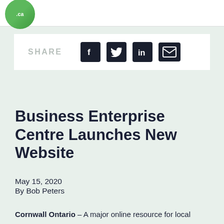.ca
[Figure (infographic): Share bar with social media icons: Facebook, Twitter, LinkedIn, Email]
Business Enterprise Centre Launches New Website
May 15, 2020
By Bob Peters
Cornwall Ontario – A major online resource for local